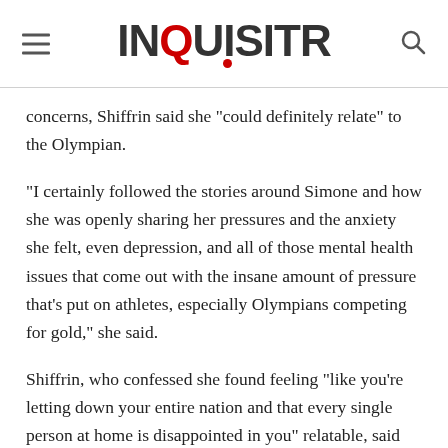INQUISITR
concerns, Shiffrin said she "could definitely relate" to the Olympian.
"I certainly followed the stories around Simone and how she was openly sharing her pressures and the anxiety she felt, even depression, and all of those mental health issues that come out with the insane amount of pressure that’s put on athletes, especially Olympians competing for gold," she said.
Shiffrin, who confessed she found feeling "like you’re letting down your entire nation and that every single person at home is disappointed in you" relatable, said the feeling was a "really